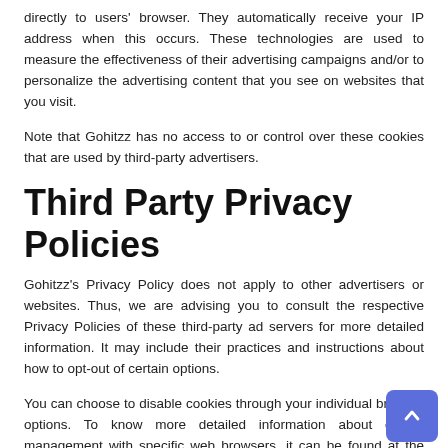directly to users' browser. They automatically receive your IP address when this occurs. These technologies are used to measure the effectiveness of their advertising campaigns and/or to personalize the advertising content that you see on websites that you visit.
Note that Gohitzz has no access to or control over these cookies that are used by third-party advertisers.
Third Party Privacy Policies
Gohitzz's Privacy Policy does not apply to other advertisers or websites. Thus, we are advising you to consult the respective Privacy Policies of these third-party ad servers for more detailed information. It may include their practices and instructions about how to opt-out of certain options.
You can choose to disable cookies through your individual browser options. To know more detailed information about cookie management with specific web browsers, it can be found at the browsers' respective websites. What Are Cookies?